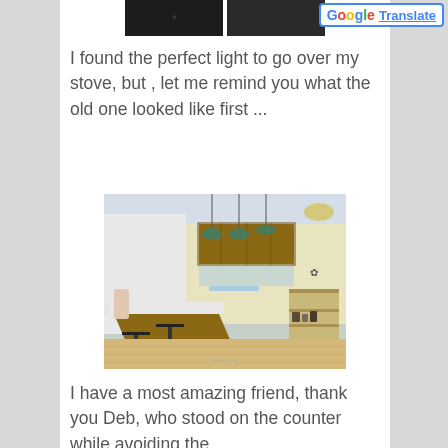[Figure (photo): Two dark kitchen photos shown at top of page, partially cropped]
[Figure (other): Google Translate button in upper right corner]
I found the perfect light to go over my stove, but , let me remind you what the old one looked like first ...
[Figure (photo): Kitchen interior photo showing a kitchen island with bar stools, pendant lights hanging from ceiling, wooden cabinets, white countertops, and a coffee station shelf unit on the right. Light hardwood floors.]
I have a most amazing friend, thank you Deb, who stood on the counter while avoiding the